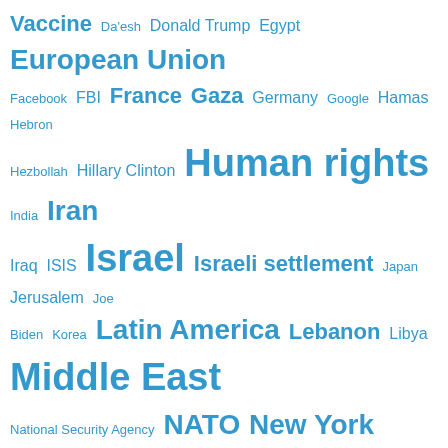[Figure (infographic): Word cloud of topics/entities in blue, varying font sizes indicating frequency. Terms include: Vaccine, Da'esh, Donald Trump, Egypt, European Union, Facebook, FBI, France, Gaza, Germany, Google, Hamas, Hebron, Hezbollah, Hillary Clinton, Human rights, India, Iran, Iraq, ISIS, Israel, Israeli settlement, Japan, Jerusalem, Joe Biden, Korea, Latin America, Lebanon, Libya, Middle East, National Security Agency, NATO, New York Times, North Korea, NSA, Obama, Pakistan, Palestine, Qatar, Russia, Sanctions against Iran, Saudi Arabia, Syria, The Guardian, Turkey, Twitter, UAE, UK, Ukraine, United Nations, United States, USA, Venezuela, Washington Post, West Bank, Yemen, Zionism]